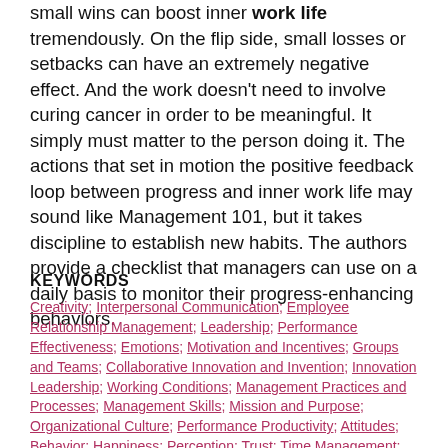small wins can boost inner work life tremendously. On the flip side, small losses or setbacks can have an extremely negative effect. And the work doesn't need to involve curing cancer in order to be meaningful. It simply must matter to the person doing it. The actions that set in motion the positive feedback loop between progress and inner work life may sound like Management 101, but it takes discipline to establish new habits. The authors provide a checklist that managers can use on a daily basis to monitor their progress-enhancing behaviors.
KEYWORDS
Creativity; Interpersonal Communication; Employee Relationship Management; Leadership; Performance Effectiveness; Emotions; Motivation and Incentives; Groups and Teams; Collaborative Innovation and Invention; Innovation Leadership; Working Conditions; Management Practices and Processes; Management Skills; Mission and Purpose; Organizational Culture; Performance Productivity; Attitudes; Behavior; Happiness; Perception; Trust; Time Management; Resource Allocation; Business or Company Management; Goals and Objectives; Managerial Roles